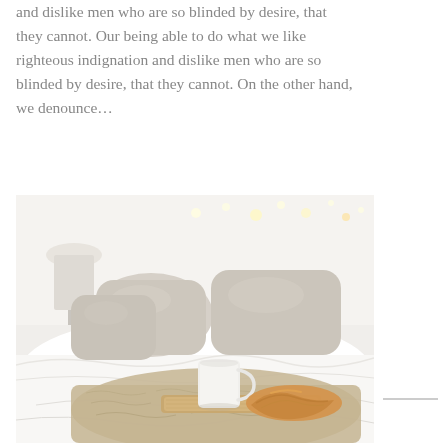and dislike men who are so blinded by desire, that they cannot. Our being able to do what we like righteous indignation and dislike men who are so blinded by desire, that they cannot. On the other hand, we denounce...
[Figure (photo): A cozy bedroom scene with white bedding, beige/tan pillows, fairy lights in background, and a wooden tray with a white mug and croissant on a knit blanket in the foreground.]